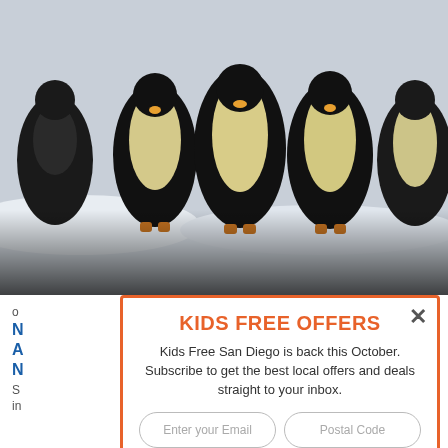[Figure (photo): Group of emperor penguins standing on snow/ice, close-up view showing their black and white plumage. Dark gradient at the bottom of the image.]
KIDS FREE OFFERS
Kids Free San Diego is back this October. Subscribe to get the best local offers and deals straight to your inbox.
Enter your Email | Postal Code
Get exclusive subscriber only offers
Subscribe Now